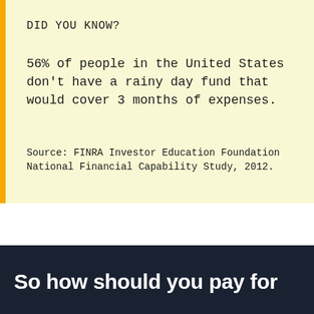DID YOU KNOW?
56% of people in the United States don't have a rainy day fund that would cover 3 months of expenses.
Source: FINRA Investor Education Foundation National Financial Capability Study, 2012.
So how should you pay for